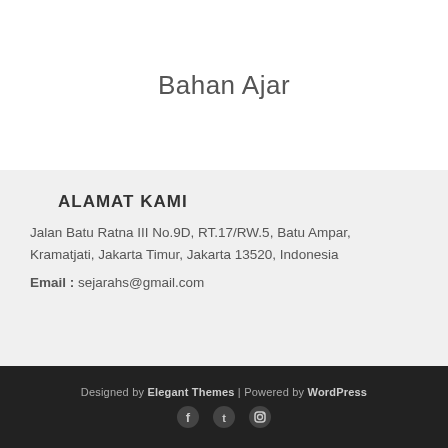Bahan Ajar
ALAMAT KAMI
Jalan Batu Ratna III No.9D, RT.17/RW.5, Batu Ampar, Kramatjati, Jakarta Timur, Jakarta 13520, Indonesia
Email : sejarahs@gmail.com
Designed by Elegant Themes | Powered by WordPress